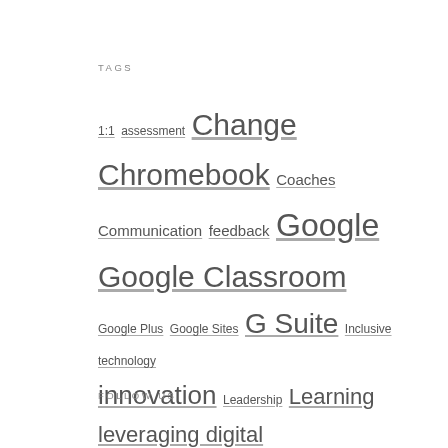TAGS
1:1 assessment Change Chromebook Coaches Communication feedback Google Google Classroom Google Plus Google Sites G Suite Inclusive technology innovation Leadership Learning leveraging digital Libraries math professional development Read & Write Special Education Students teacher librarian technology Twitter video Websites Workflow YouTube
FOLLOW US